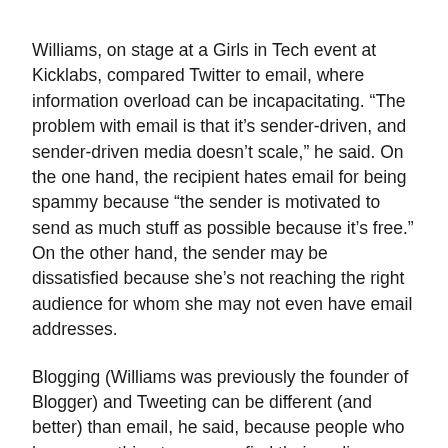Williams, on stage at a Girls in Tech event at Kicklabs, compared Twitter to email, where information overload can be incapacitating. “The problem with email is that it’s sender-driven, and sender-driven media doesn’t scale,” he said. On the one hand, the recipient hates email for being spammy because “the sender is motivated to send as much stuff as possible because it’s free.” On the other hand, the sender may be dissatisfied because she’s not reaching the right audience for whom she may not even have email addresses.
Blogging (Williams was previously the founder of Blogger) and Tweeting can be different (and better) than email, he said, because people who have something to say can find their audience. That’s a much better situation for both the publishers of the information and